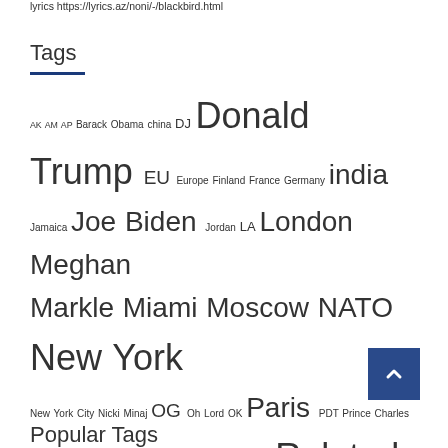lyrics https://lyrics.az/noni/-/blackbird.html
Tags
AK AM AP Barack Obama china DJ Donald Trump EU Europe Finland France Germany india Jamaica Joe Biden Jordan LA London Meghan Markle Miami Moscow NATO New York New York City Nicki Minaj OG Oh Lord OK Paris PDT Prince Charles Prince Harry Prince William Queen Elizabeth RBI Related Posts Russia Submit Lyrics TV United States US Vanity Fair VIP VVS Vybz Kart
Popular Tags (partial)